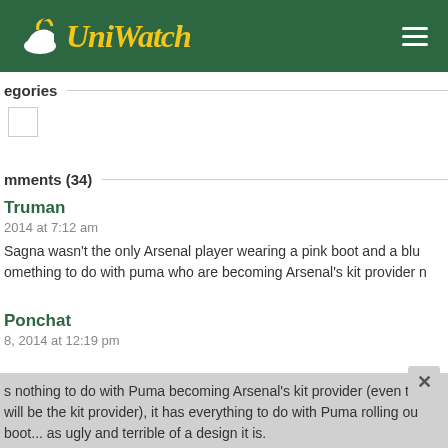UniWatch
egories
mments (34)
Truman
2014 at 7:12 am
Sagna wasn't the only Arsenal player wearing a pink boot and a blue something to do with puma who are becoming Arsenal's kit provider n
Ponchat
8, 2014 at 12:19 pm
s nothing to do with Puma becoming Arsenal's kit provider (even tho will be the kit provider), it has everything to do with Puma rolling ou boot... as ugly and terrible of a design it is.